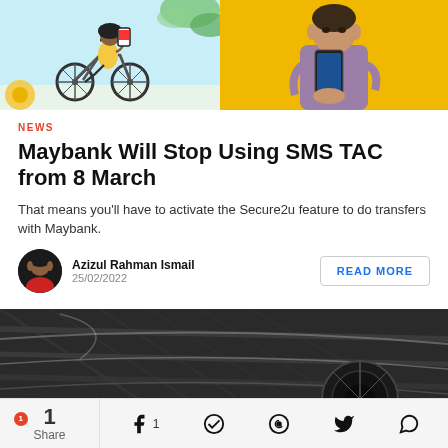[Figure (illustration): Two promotional illustrations side by side: left shows a person cycling with a smartphone app visible, right shows a person holding a phone against a yellow background]
NEWS
Maybank Will Stop Using SMS TAC from 8 March
That means you'll have to activate the Secure2u feature to do transfers with Maybank.
Azizul Rahman Ismail
25/02/2022
[Figure (photo): Close-up photo of a dark car dashboard/interior with carbon fiber texture and ventilation elements]
1 Share